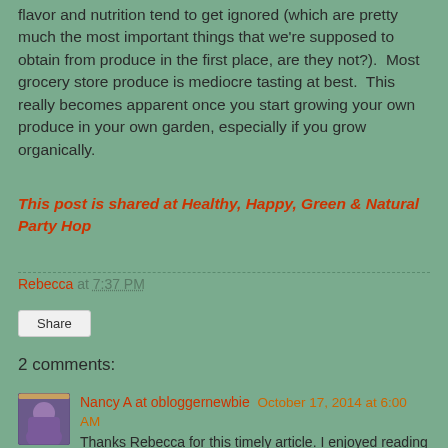flavor and nutrition tend to get ignored (which are pretty much the most important things that we're supposed to obtain from produce in the first place, are they not?).  Most grocery store produce is mediocre tasting at best.  This really becomes apparent once you start growing your own produce in your own garden, especially if you grow organically.
This post is shared at Healthy, Happy, Green & Natural Party Hop
Rebecca at 7:37 PM
Share
2 comments:
Nancy A at obloggernewbie October 17, 2014 at 6:00 AM
Thanks Rebecca for this timely article. I enjoyed reading about your cultivation and harvesting experiences at the HHGN Party Blog Hop # 43 http://urbannaturale.com/live-it-